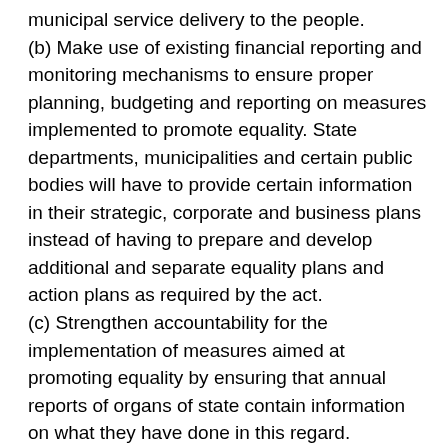municipal service delivery to the people.
(b) Make use of existing financial reporting and monitoring mechanisms to ensure proper planning, budgeting and reporting on measures implemented to promote equality. State departments, municipalities and certain public bodies will have to provide certain information in their strategic, corporate and business plans instead of having to prepare and develop additional and separate equality plans and action plans as required by the act.
(c) Strengthen accountability for the implementation of measures aimed at promoting equality by ensuring that annual reports of organs of state contain information on what they have done in this regard.
(d) Enhance coordination and prevent overlapping actions and duties, a minister must, before issuing